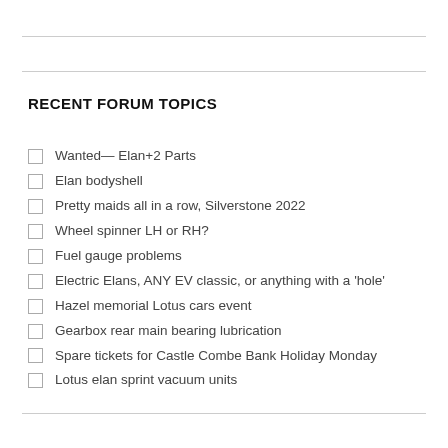RECENT FORUM TOPICS
Wanted— Elan+2 Parts
Elan bodyshell
Pretty maids all in a row, Silverstone 2022
Wheel spinner LH or RH?
Fuel gauge problems
Electric Elans, ANY EV classic, or anything with a 'hole'
Hazel memorial Lotus cars event
Gearbox rear main bearing lubrication
Spare tickets for Castle Combe Bank Holiday Monday
Lotus elan sprint vacuum units